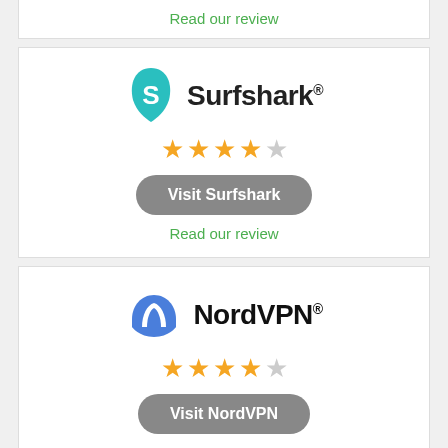Read our review
[Figure (logo): Surfshark logo with teal shark fin icon and bold text 'Surfshark®']
[Figure (other): 4 out of 5 stars rating for Surfshark]
Visit Surfshark
Read our review
[Figure (logo): NordVPN logo with blue mountain/arc icon and bold text 'NordVPN®']
[Figure (other): 4 out of 5 stars rating for NordVPN]
Visit NordVPN